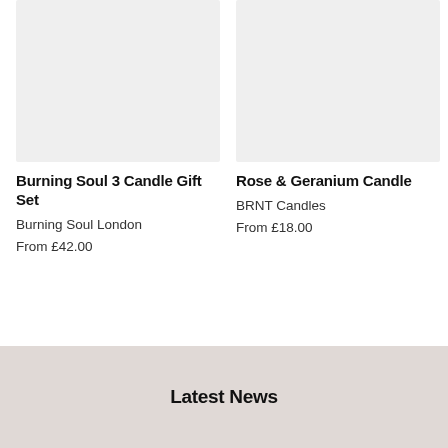[Figure (photo): Product image placeholder for Burning Soul 3 Candle Gift Set — light grey rectangle]
Burning Soul 3 Candle Gift Set
Burning Soul London
From £42.00
[Figure (photo): Product image placeholder for Rose & Geranium Candle — light grey rectangle]
Rose & Geranium Candle
BRNT Candles
From £18.00
Latest News